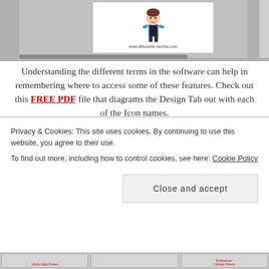[Figure (screenshot): Screenshot of Silhouette software interface showing a cartoon avatar with www.silhouette-secrets.com watermark, gray design canvas area]
Understanding the different terms in the software can help in remembering where to access some of these features. Check out this FREE PDF file that diagrams the Design Tab out with each of the Icon names.
[Figure (screenshot): Screenshot of Silhouette V4 software showing labeled interface panels: QAT (Quick Access Toolbar), Select, Lasso Tool, Edit Points, Line Tools, Drawing Tools, Freehand Tools, Tool Text on left; Page Notice Panel, Phascan Panel, Fill Color Panel, Line Style Panel, Trace Panel, Image Effects Panel, Tool Style Panel on right; center shows 'LET'S EXPLORE V4']
Privacy & Cookies: This site uses cookies. By continuing to use this website, you agree to their use. To find out more, including how to control cookies, see here: Cookie Policy
Close and accept
[Figure (screenshot): Bottom partial screenshots showing Library Split Screen, Preferences, Change Theme labels]